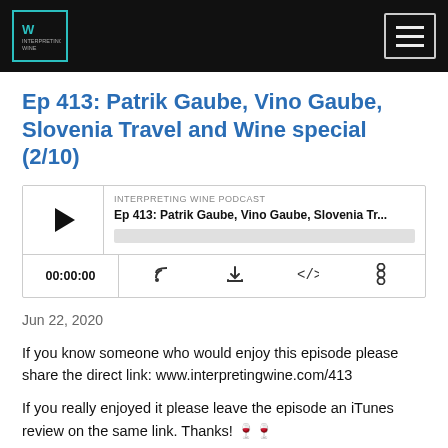Interpreting Wine [logo] [hamburger menu]
Ep 413: Patrik Gaube, Vino Gaube, Slovenia Travel and Wine special (2/10)
[Figure (screenshot): Podcast audio player widget showing: INTERPRETING WINE PODCAST label, episode title 'Ep 413: Patrik Gaube, Vino Gaube, Slovenia Tr...', progress bar, play button, time display 00:00:00, and control icons for RSS, download, embed code, and share.]
Jun 22, 2020
If you know someone who would enjoy this episode please share the direct link: www.interpretingwine.com/413
If you really enjoyed it please leave the episode an iTunes review on the same link. Thanks! 🍷🍷
Continuing the journey around Slovenia. Today's episode begins Day 2 of the tour. Following a night at the...